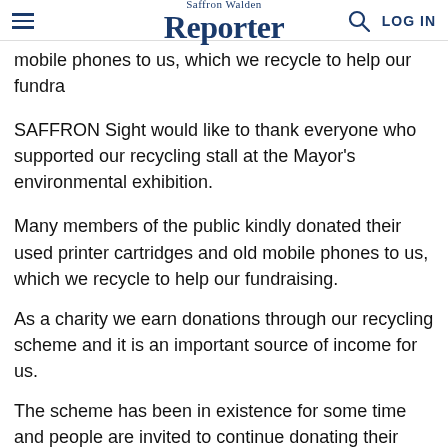Saffron Walden Reporter | LOG IN
mobile phones to us, which we recycle to help our fundra
SAFFRON Sight would like to thank everyone who supported our recycling stall at the Mayor's environmental exhibition.
Many members of the public kindly donated their used printer cartridges and old mobile phones to us, which we recycle to help our fundraising.
As a charity we earn donations through our recycling scheme and it is an important source of income for us.
The scheme has been in existence for some time and people are invited to continue donating their spent cartridges and old mobile phones to us at our Resource